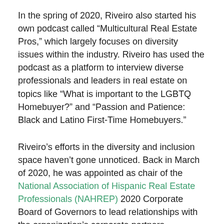In the spring of 2020, Riveiro also started his own podcast called “Multicultural Real Estate Pros,” which largely focuses on diversity issues within the industry. Riveiro has used the podcast as a platform to interview diverse professionals and leaders in real estate on topics like “What is important to the LGBTQ Homebuyer?” and “Passion and Patience: Black and Latino First-Time Homebuyers.”
Riveiro’s efforts in the diversity and inclusion space haven’t gone unnoticed. Back in March of 2020, he was appointed as chair of the National Association of Hispanic Real Estate Professionals (NAHREP) 2020 Corporate Board of Governors to lead relationships with the organization’s corporate partners.